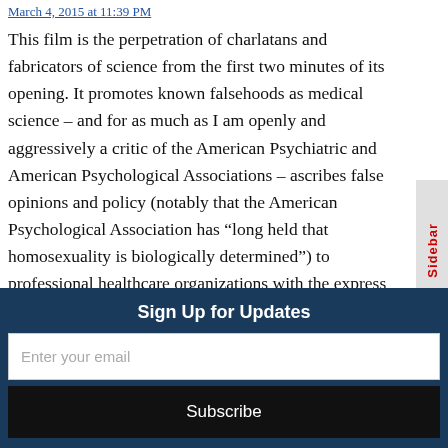March 4, 2015 at 11:39 PM
This film is the perpetration of charlatans and fabricators of science from the first two minutes of its opening. It promotes known falsehoods as medical science – and for as much as I am openly and aggressively a critic of the American Psychiatric and American Psychological Associations – ascribes false opinions and policy (notably that the American Psychological Association has “long held that homosexuality is biologically determined”) to professional healthcare organizations with the express intent of demonizing them. The “credentials” of these individuals are from self-published materials which they refuse to subject to the scientific community to be scrutinized for study design, data integrity,
Sign Up for Updates
Enter your email
Subscribe